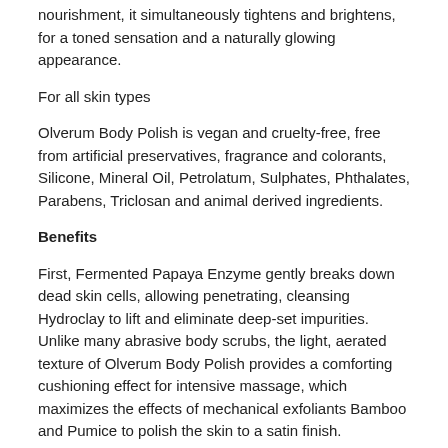nourishment, it simultaneously tightens and brightens, for a toned sensation and a naturally glowing appearance.
For all skin types
Olverum Body Polish is vegan and cruelty-free, free from artificial preservatives, fragrance and colorants, Silicone, Mineral Oil, Petrolatum, Sulphates, Phthalates, Parabens, Triclosan and animal derived ingredients.
Benefits
First, Fermented Papaya Enzyme gently breaks down dead skin cells, allowing penetrating, cleansing Hydroclay to lift and eliminate deep-set impurities. Unlike many abrasive body scrubs, the light, aerated texture of Olverum Body Polish provides a comforting cushioning effect for intensive massage, which maximizes the effects of mechanical exfoliants Bamboo and Pumice to polish the skin to a satin finish.
Simultaneously, a carefully balanced fusion of essential oils work to help purify skin, and aid moisture retention. Firming Bergamot Oil